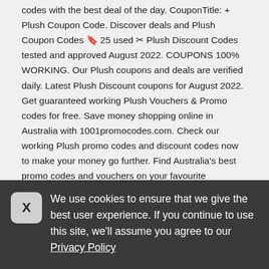codes with the best deal of the day. CouponTitle: + Plush Coupon Code. Discover deals and Plush Coupon Codes 🔖 25 used ✂ Plush Discount Codes tested and approved August 2022. COUPONS 100% WORKING. Our Plush coupons and deals are verified daily. Latest Plush Discount coupons for August 2022. Get guaranteed working Plush Vouchers & Promo codes for free. Save money shopping online in Australia with 1001promocodes.com. Check our working Plush promo codes and discount codes now to make your money go further. Find Australia's best promo codes and vouchers on your favourite Australian stores. Save money at the best online shopping sites now!
We use cookies to ensure that we give the best user experience. If you continue to use this site, we'll assume you agree to our Privacy Policy